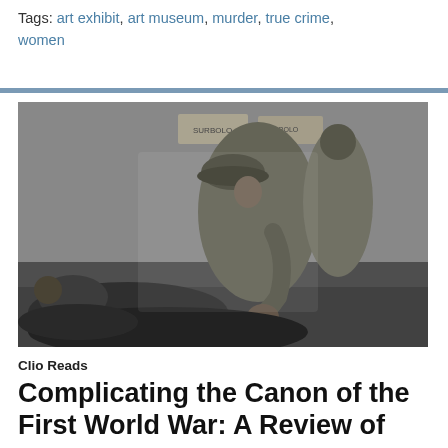Tags: art exhibit, art museum, murder, true crime, women
[Figure (photo): Black and white historical photograph showing a soldier in a helmet leaning over and tending to a wounded or distressed person lying on the ground, with another figure nearby, and signage visible in the background.]
Clio Reads
Complicating the Canon of the First World War: A Review of